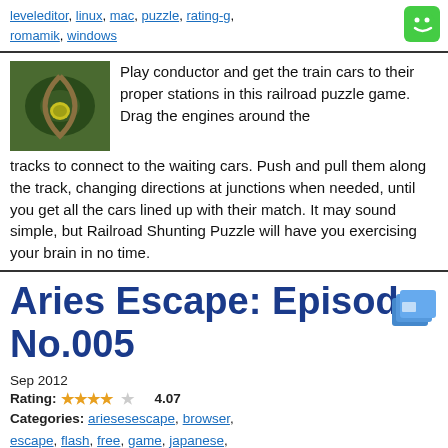leveleditor, linux, mac, puzzle, rating-g, romamik, windows
Play conductor and get the train cars to their proper stations in this railroad puzzle game. Drag the engines around the tracks to connect to the waiting cars. Push and pull them along the track, changing directions at junctions when needed, until you get all the cars lined up with their match. It may sound simple, but Railroad Shunting Puzzle will have you exercising your brain in no time.
Aries Escape: Episode No.005
Sep 2012
Rating: 4.07
Categories: ariesesacpe, browser, escape, flash, free, game, japanese, libertechno, linux, mac, pointandclick, puzzle, rating-g, windows
Introducing a new-to-the-scene escape designer in this pleasant locked room